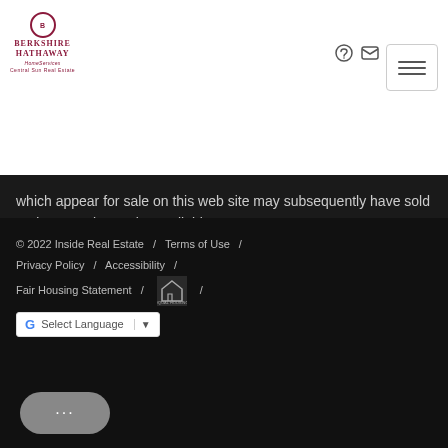[Figure (logo): Berkshire Hathaway HomeServices Central Sun Real Estate logo]
which appear for sale on this web site may subsequently have sold and may no longer be available. August 27, 2022 9:46 PM UTC
© 2022 Inside Real Estate / Terms of Use / Privacy Policy / Accessibility / Fair Housing Statement / [Equal Housing Opportunity logo]
[Figure (other): Google Translate Select Language dropdown widget]
[Figure (other): Chat bubble button with ellipsis]